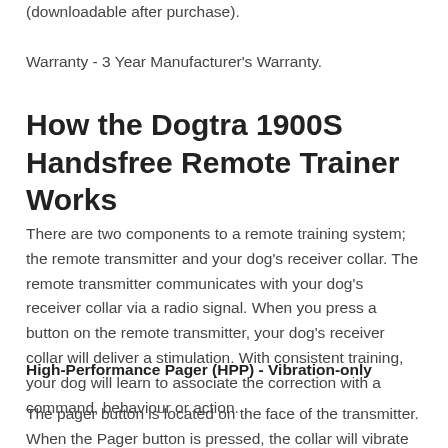(downloadable after purchase).
Warranty - 3 Year Manufacturer's Warranty.
How the Dogtra 1900S Handsfree Remote Trainer Works
There are two components to a remote training system; the remote transmitter and your dog's receiver collar. The remote transmitter communicates with your dog's receiver collar via a radio signal. When you press a button on the remote transmitter, your dog's receiver collar will deliver a stimulation. With consistent training, your dog will learn to associate the correction with a command, behaviour or action.
High-Performance Pager (HPP) - Vibration-only
The pager button is located on the face of the transmitter. When the Pager button is pressed, the collar will vibrate for the length of time the button is pressed for off...